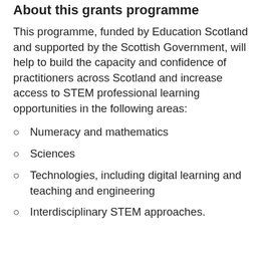About this grants programme
This programme, funded by Education Scotland and supported by the Scottish Government, will help to build the capacity and confidence of practitioners across Scotland and increase access to STEM professional learning opportunities in the following areas:
Numeracy and mathematics
Sciences
Technologies, including digital learning and teaching and engineering
Interdisciplinary STEM approaches.